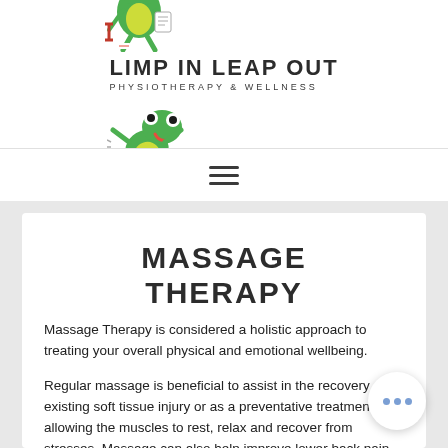[Figure (logo): Limp In Leap Out Physiotherapy & Wellness logo with two cartoon frogs and text]
MASSAGE THERAPY
Massage Therapy is considered a holistic approach to treating your overall physical and emotional wellbeing.
Regular massage is beneficial to assist in the recovery of an existing soft tissue injury or as a preventative treatment, allowing the muscles to rest, relax and recover from stresses. Massage can also help improve lower back pain, aid recovery and relieve